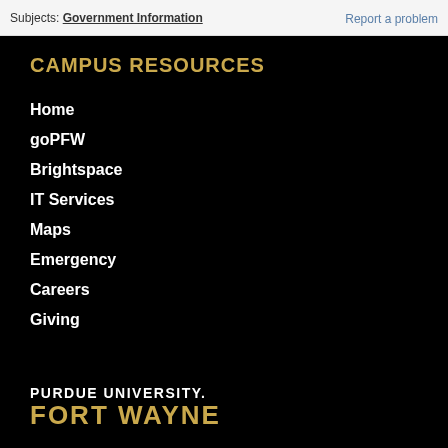Subjects: Government Information   Report a problem
CAMPUS RESOURCES
Home
goPFW
Brightspace
IT Services
Maps
Emergency
Careers
Giving
[Figure (logo): Purdue University Fort Wayne logo — white bold uppercase 'PURDUE UNIVERSITY.' on top, gold bold uppercase 'FORT WAYNE' below, on black background]